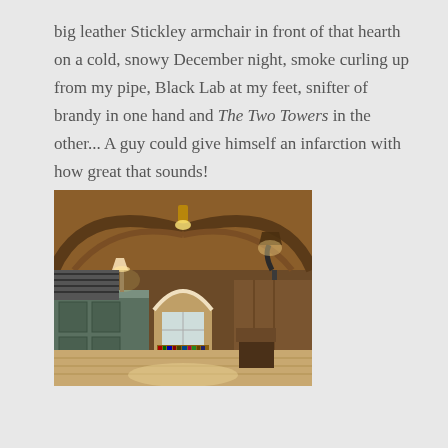big leather Stickley armchair in front of that hearth on a cold, snowy December night, smoke curling up from my pipe, Black Lab at my feet, snifter of brandy in one hand and The Two Towers in the other... A guy could give himself an infarction with how great that sounds!
[Figure (photo): Interior of a rustic timber-framed room with vaulted wooden ceiling. An arched doorway leads to a library area with bookshelves and windows. A lamp is visible on a counter to the left, and a wrought-iron floor lamp stands on the right. The floor is light-colored hardwood.]